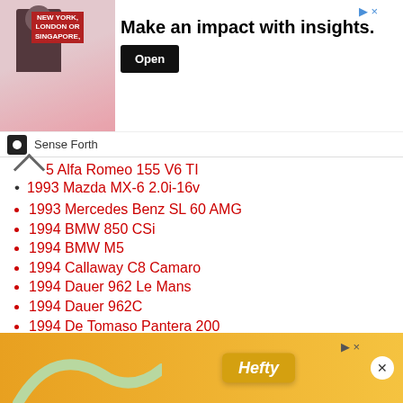[Figure (other): Advertisement banner: Make an impact with insights. Open button. Sense Forth branding.]
5 Alfa Romeo 155 V6 TI (partially visible, scrolled)
1993 Mazda MX-6 2.0i-16v
1993 Mercedes Benz SL 60 AMG
1994 BMW 850 CSi
1994 BMW M5
1994 Callaway C8 Camaro
1994 Dauer 962 Le Mans
1994 Dauer 962C
1994 De Tomaso Pantera 200
1994 Dodge Venom Concept
1994 Ferrari F355 Berlinetta
1994 Ferrari F355 GTS
1994 Ferrari F512 M
1994 (faded, partially obscured)
1994 (faded, partially obscured)
[Figure (other): Hefty advertisement banner at the bottom of the page]